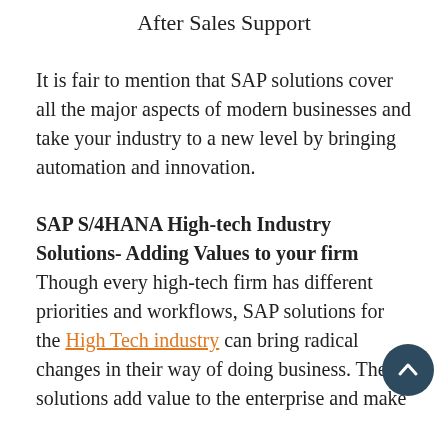After Sales Support
It is fair to mention that SAP solutions cover all the major aspects of modern businesses and take your industry to a new level by bringing automation and innovation.
SAP S/4HANA High-tech Industry Solutions- Adding Values to your firm Though every high-tech firm has different priorities and workflows, SAP solutions for the High Tech industry can bring radical changes in their way of doing business. These solutions add value to the enterprise and make